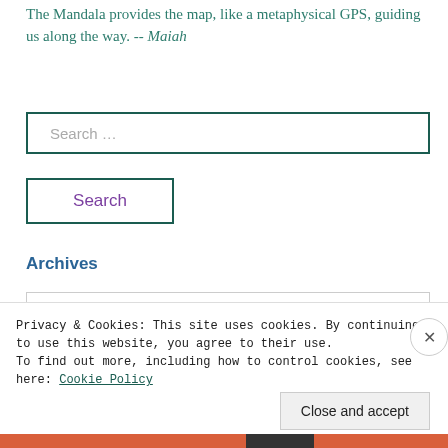The Mandala provides the map, like a metaphysical GPS, guiding us along the way. -- Maiah
[Figure (screenshot): Search input box with placeholder text 'Search ...' and a dark teal border]
[Figure (screenshot): Search button with dark teal border and purple 'Search' label]
Archives
Privacy & Cookies: This site uses cookies. By continuing to use this website, you agree to their use.
To find out more, including how to control cookies, see here: Cookie Policy
[Figure (screenshot): Close and accept button for cookie banner]